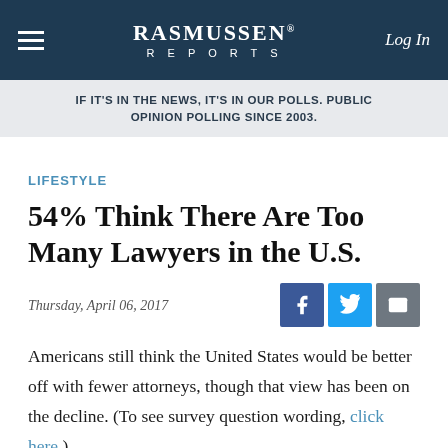RASMUSSEN REPORTS | Log In
IF IT'S IN THE NEWS, IT'S IN OUR POLLS. PUBLIC OPINION POLLING SINCE 2003.
LIFESTYLE
54% Think There Are Too Many Lawyers in the U.S.
Thursday, April 06, 2017
Americans still think the United States would be better off with fewer attorneys, though that view has been on the decline. (To see survey question wording, click here.)